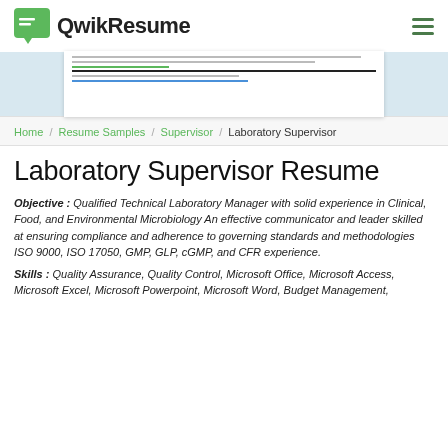QwikResume
[Figure (screenshot): Partial resume document preview showing EDUCATION section heading and a horizontal line, with a link line below]
Home / Resume Samples / Supervisor / Laboratory Supervisor
Laboratory Supervisor Resume
Objective : Qualified Technical Laboratory Manager with solid experience in Clinical, Food, and Environmental Microbiology An effective communicator and leader skilled at ensuring compliance and adherence to governing standards and methodologies ISO 9000, ISO 17050, GMP, GLP, cGMP, and CFR experience.
Skills : Quality Assurance, Quality Control, Microsoft Office, Microsoft Access, Microsoft Excel, Microsoft Powerpoint, Microsoft Word, Budget Management,